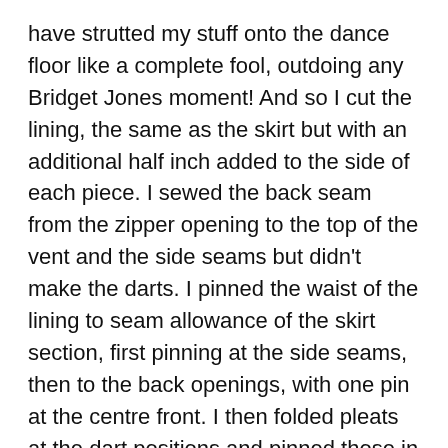have strutted my stuff onto the dance floor like a complete fool, outdoing any Bridget Jones moment! And so I cut the lining, the same as the skirt but with an additional half inch added to the side of each piece. I sewed the back seam from the zipper opening to the top of the vent and the side seams but didn't make the darts. I pinned the waist of the lining to seam allowance of the skirt section, first pinning at the side seams, then to the back openings, with one pin at the centre front. I then folded pleats at the dart positions and pinned those in place before sewing to the seam allowance all round.
I'm not entirely sure this was the best way forward. There may be more professional ways of doing this but it worked, for me, anyhows!
I bound the hem with bias tape and machine hemmed the lining. Tricky old stuff, silk lining. Seems to carry far more